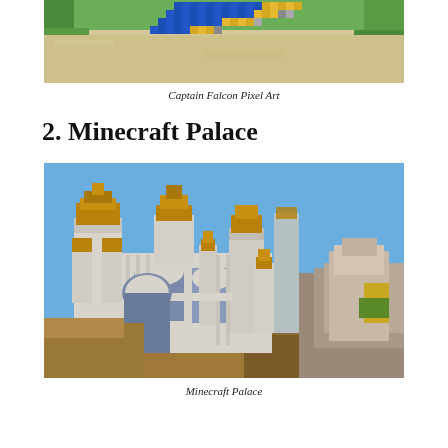[Figure (photo): Aerial view of a Captain Falcon pixel art creation in Minecraft, showing a blue and yellow figure made of colored blocks on a sandy landscape with green and blue terrain.]
Captain Falcon Pixel Art
2. Minecraft Palace
[Figure (photo): A large and detailed Minecraft palace build featuring white stone architecture with brown/gold rooftops, multiple towers, arches, and spires against a blue sky, with rocky terrain in the foreground.]
Minecraft Palace